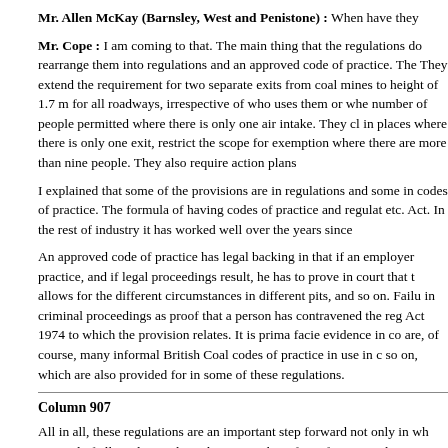Mr. Allen McKay (Barnsley, West and Penistone) : When have they
Mr. Cope : I am coming to that. The main thing that the regulations do rearrange them into regulations and an approved code of practice. The They extend the requirement for two separate exits from coal mines to height of 1.7 m for all roadways, irrespective of who uses them or whe number of people permitted where there is only one air intake. They cl in places where there is only one exit, restrict the scope for exemption where there are more than nine people. They also require action plans
I explained that some of the provisions are in regulations and some in codes of practice. The formula of having codes of practice and regulat etc. Act. In the rest of industry it has worked well over the years since
An approved code of practice has legal backing in that if an employer practice, and if legal proceedings result, he has to prove in court that t allows for the different circumstances in different pits, and so on. Failu in criminal proceedings as proof that a person has contravened the reğ Act 1974 to which the provision relates. It is prima facie evidence in co are, of course, many informal British Coal codes of practice in use in c so on, which are also provided for in some of these regulations.
Column 907
All in all, these regulations are an important step forward not only in wh renewal of all our law and regulations on the safety of mines and quar painstakingly agreed by all concerned. I commend them to the House
Column 909